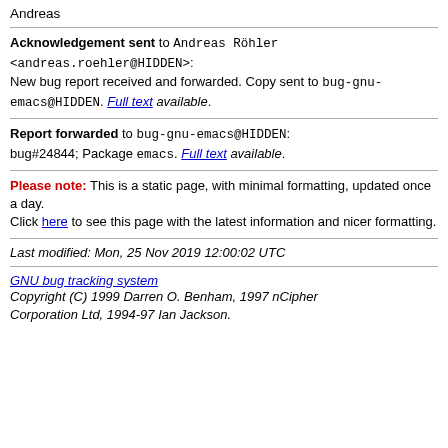Andreas
Acknowledgement sent to Andreas Röhler <andreas.roehler@HIDDEN>:
New bug report received and forwarded. Copy sent to bug-gnu-emacs@HIDDEN. Full text available.
Report forwarded to bug-gnu-emacs@HIDDEN:
bug#24844; Package emacs. Full text available.
Please note: This is a static page, with minimal formatting, updated once a day.
Click here to see this page with the latest information and nicer formatting.
Last modified: Mon, 25 Nov 2019 12:00:02 UTC
GNU bug tracking system
Copyright (C) 1999 Darren O. Benham, 1997 nCipher Corporation Ltd, 1994-97 Ian Jackson.